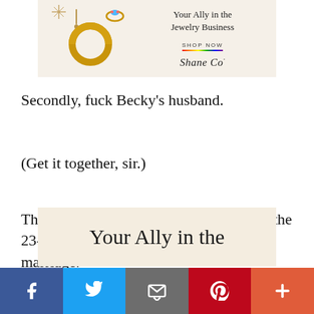[Figure (illustration): Shane Co. jewelry advertisement banner showing gold earrings, rings and jewelry pieces with text 'Your Ally in the Jewelry Business', 'SHOP NOW', and 'Shane Co.' logo on a cream background]
Secondly, fuck Becky’s husband.
(Get it together, sir.)
Thirdly, everyone needs to stop blaming the 23-year-old whom they invited into their marriage.
[Figure (illustration): Shane Co. jewelry advertisement banner (partial) showing cream background with large text 'Your Ally in the']
[Figure (illustration): Social media sharing bar with Facebook, Twitter, Email, Pinterest and More buttons]